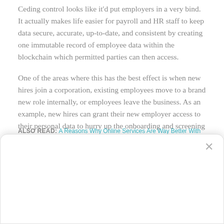Ceding control looks like it'd put employers in a very bind. It actually makes life easier for payroll and HR staff to keep data secure, accurate, up-to-date, and consistent by creating one immutable record of employee data within the blockchain which permitted parties can then access.
One of the areas where this has the best effect is when new hires join a corporation, existing employees move to a brand new role internally, or employees leave the business. As an example, new hires can grant their new employer access to their personal data to hurry up the onboarding and screening processes, with no need for the employer to have data entry or storage to commit time and resources. When an employee leaves a corporation, the information access is just removed, and therefore the employer doesn't must do anything to update their own records.
ALSO READ: A Reasons Why Online Services Are Way Better With...